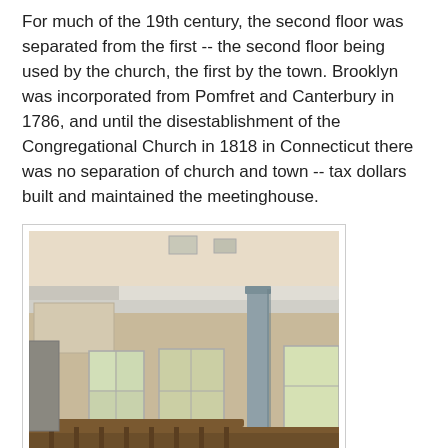For much of the 19th century, the second floor was separated from the first -- the second floor being used by the church, the first by the town. Brooklyn was incorporated from Pomfret and Canterbury in 1786, and until the disestablishment of the Congregational Church in 1818 in Connecticut there was no separation of church and town -- tax dollars built and maintained the meetinghouse.
[Figure (photo): Interior photo of a historic meetinghouse/church showing columns, balcony railing, white ceiling trim, tall windows with natural light, and wooden pew railings in the foreground.]
Construction was spearheaded by Israel Putnam (best remembered if not by name but by quote to most Americans, "Don't fire until you see the whites of their eyes!" being his